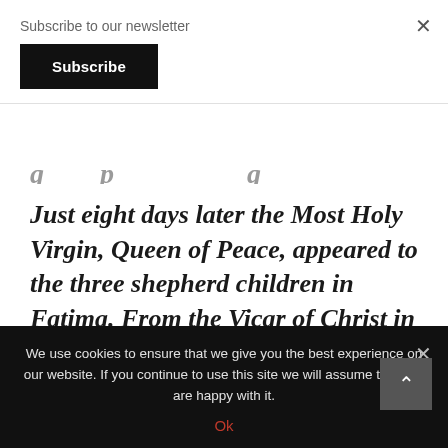Subscribe to our newsletter
Subscribe
Just eight days later the Most Holy Virgin, Queen of Peace, appeared to the three shepherd children in Fatima. From the Vicar of Christ in the Eternal City the appeal for peace went up to Heaven and to the tiny and unknown Fatima…
We use cookies to ensure that we give you the best experience on our website. If you continue to use this site we will assume that you are happy with it.
Ok